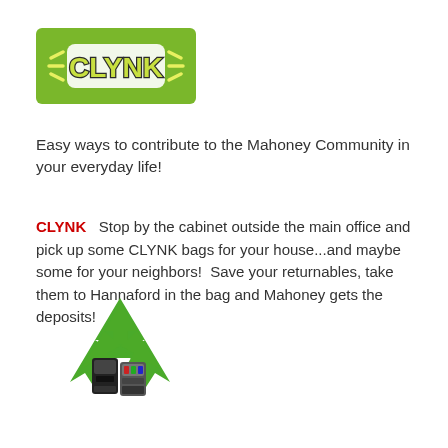[Figure (logo): CLYNK logo: green rounded rectangle with stylized CLYNK text in yellow-green with dark outline and decorative dashes on sides]
Easy ways to contribute to the Mahoney Community in your everyday life!
CLYNK   Stop by the cabinet outside the main office and pick up some CLYNK bags for your house...and maybe some for your neighbors!  Save your returnables, take them to Hannaford in the bag and Mahoney gets the deposits!
[Figure (illustration): Green recycling symbol (three chasing arrows) with two ink cartridges (black and color) overlaid in the center]